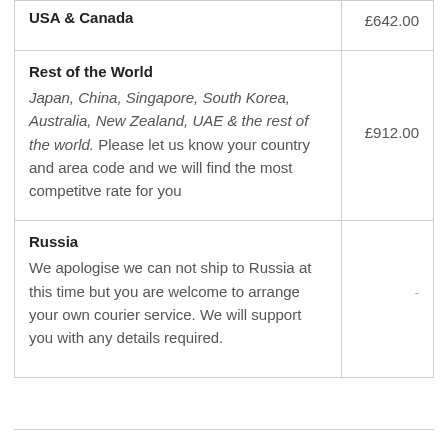| Region / Description | Price |
| --- | --- |
| USA & Canada | £642.00 |
| Rest of the World
Japan, China, Singapore, South Korea, Australia, New Zealand, UAE & the rest of the world. Please let us know your country and area code and we will find the most competitve rate for you | £912.00 |
| Russia
We apologise we can not ship to Russia at this time but you are welcome to arrange your own courier service. We will support you with any details required. | - |